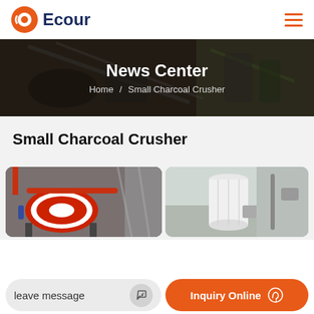Ecour
[Figure (screenshot): News Center hero banner with industrial equipment background, showing breadcrumb: Home / Small Charcoal Crusher]
Small Charcoal Crusher
[Figure (photo): Two industrial machinery photos side by side: left shows a red and white ball mill or crusher in a factory; right shows a white cylindrical tank or silo outdoors.]
leave message
Inquiry Online